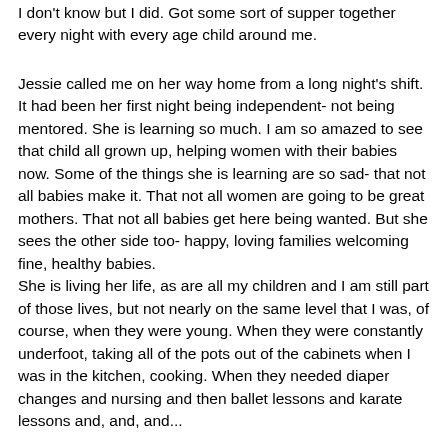I don't know but I did. Got some sort of supper together every night with every age child around me.
Jessie called me on her way home from a long night's shift. It had been her first night being independent- not being mentored. She is learning so much. I am so amazed to see that child all grown up, helping women with their babies now. Some of the things she is learning are so sad- that not all babies make it. That not all women are going to be great mothers. That not all babies get here being wanted. But she sees the other side too- happy, loving families welcoming fine, healthy babies.
She is living her life, as are all my children and I am still part of those lives, but not nearly on the same level that I was, of course, when they were young. When they were constantly underfoot, taking all of the pots out of the cabinets when I was in the kitchen, cooking. When they needed diaper changes and nursing and then ballet lessons and karate lessons and, and, and...
If I had one thing to say to any of you who have a nest which is becoming emptier all of the time it is this- you will not die when they all leave. You will not die and you will be okay and